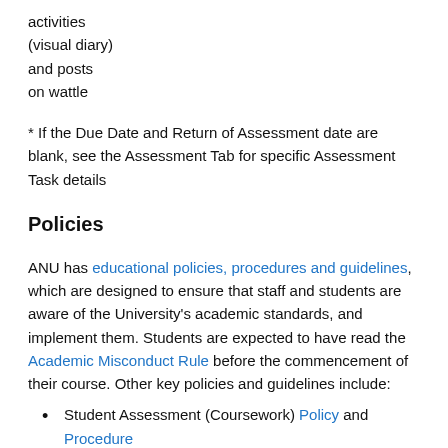activities
(visual diary)
and posts
on wattle
* If the Due Date and Return of Assessment date are blank, see the Assessment Tab for specific Assessment Task details
Policies
ANU has educational policies, procedures and guidelines, which are designed to ensure that staff and students are aware of the University's academic standards, and implement them. Students are expected to have read the Academic Misconduct Rule before the commencement of their course. Other key policies and guidelines include:
Student Assessment (Coursework) Policy and Procedure
Special Assessment Consideration Policy and General